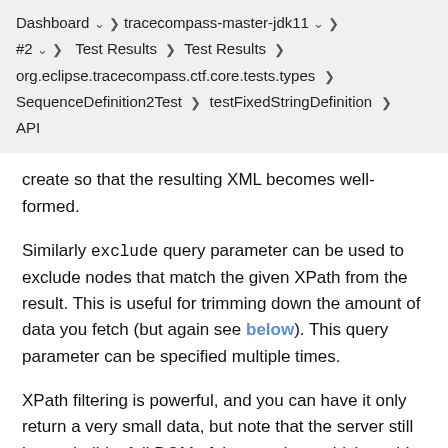Dashboard > tracecompass-master-jdk11 > #2 > Test Results > Test Results > org.eclipse.tracecompass.ctf.core.tests.types > SequenceDefinition2Test > testFixedStringDefinition > API
create so that the resulting XML becomes well-formed.
Similarly exclude query parameter can be used to exclude nodes that match the given XPath from the result. This is useful for trimming down the amount of data you fetch (but again see below). This query parameter can be specified multiple times.
XPath filtering is powerful, and you can have it only return a very small data, but note that the server still has to build a full DOM of the raw data, which could cause a large memory spike. To avoid overloading the server, consider using the tree parameter, or use the xpath parameter in conjunction with the